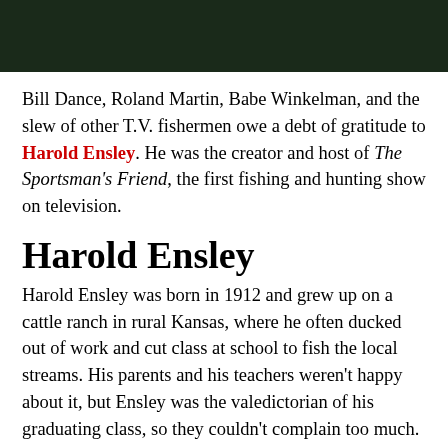[Figure (photo): Dark photo strip showing foliage/leaves against a dark background, cropped at top of page]
Bill Dance, Roland Martin, Babe Winkelman, and the slew of other T.V. fishermen owe a debt of gratitude to Harold Ensley. He was the creator and host of The Sportsman's Friend, the first fishing and hunting show on television.
Harold Ensley
Harold Ensley was born in 1912 and grew up on a cattle ranch in rural Kansas, where he often ducked out of work and cut class at school to fish the local streams. His parents and his teachers weren't happy about it, but Ensley was the valedictorian of his graduating class, so they couldn't complain too much.